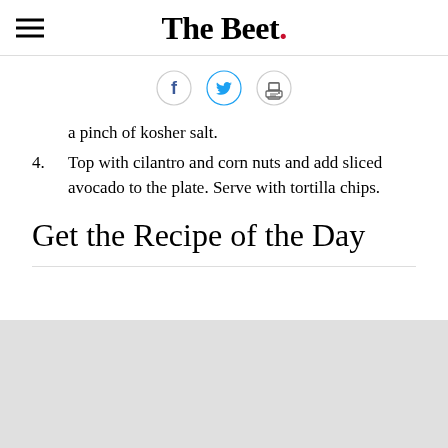The Beet.
[Figure (other): Social sharing icons: Facebook, Twitter, and Print]
a pinch of kosher salt.
4. Top with cilantro and corn nuts and add sliced avocado to the plate. Serve with tortilla chips.
Get the Recipe of the Day
[Figure (other): Gray placeholder/ad area at bottom of page]